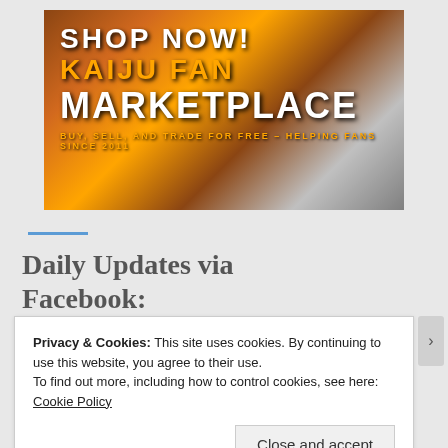[Figure (illustration): Kaiju Fan Marketplace banner advertisement showing monster artwork with text: SHOP NOW! KAIJU FAN MARKETPLACE — BUY, SELL, AND TRADE FOR FREE – HELPING FANS SINCE 2011]
Daily Updates via Facebook:
Privacy & Cookies: This site uses cookies. By continuing to use this website, you agree to their use.
To find out more, including how to control cookies, see here: Cookie Policy
Close and accept